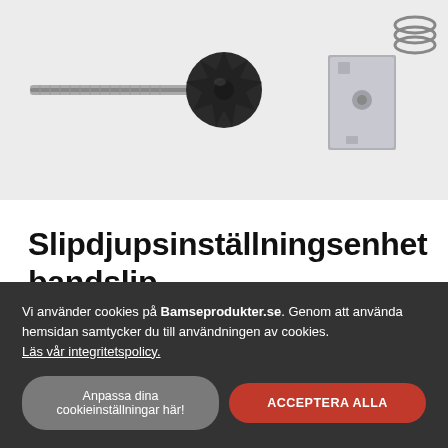[Figure (photo): Product photo showing grinding depth adjustment unit components: a threaded rod/shaft, a black star-shaped knob, a metal bracket plate, and a spring, all on white background.]
Slipdjupsinställningsenhet bandslip
Vi använder cookies på Bamseprodukter.se. Genom att använda hemsidan samtycker du till användningen av cookies. Läs vår integritetspolicy.
Anpassa dina cookieinställningar här!
ACCEPTERA ALLA